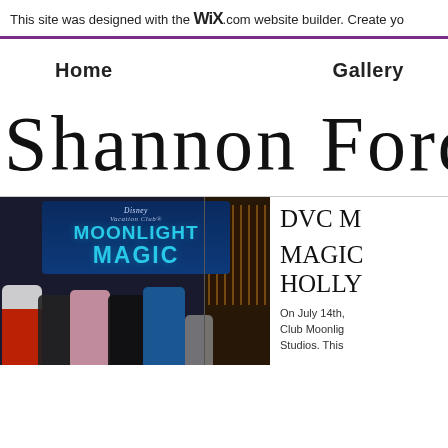This site was designed with the Wix.com website builder. Create yo
Home    Gallery
Shannon Ford
[Figure (photo): Photo of people at Disney Vacation Club Moonlight Magic event at Hollywood Studios, with Buzz Lightyear character and a promotional sign]
DVC M MAGIC HOLLY On July 14th, Club Moonlig Studios. Thi